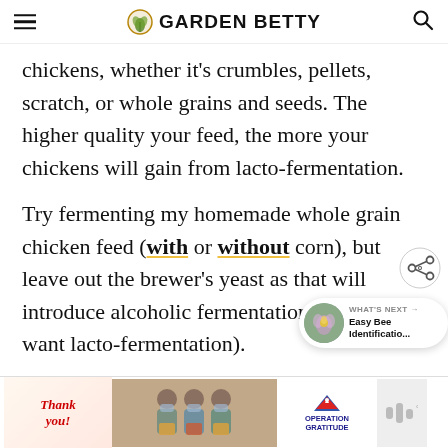GARDEN BETTY
chickens, whether it's crumbles, pellets, scratch, or whole grains and seeds. The higher quality your feed, the more your chickens will gain from lacto-fermentation.
Try fermenting my homemade whole grain chicken feed (with or without corn), but leave out the brewer's yeast as that will introduce alcoholic fermentation (whereas we want lacto-fermentation).
[Figure (infographic): WHAT'S NEXT arrow button with bee image and text 'Easy Bee Identificatio...' and a share icon overlay]
[Figure (photo): Advertisement banner: Thank you Operation Gratitude with people in masks holding boxes]